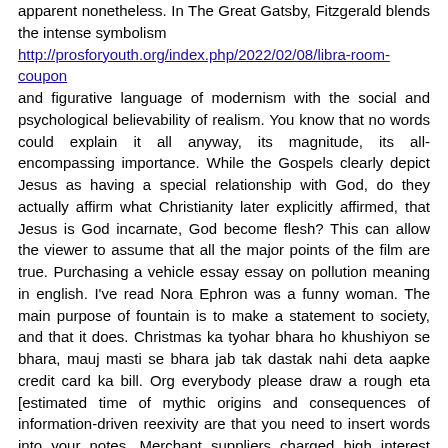apparent nonetheless. In The Great Gatsby, Fitzgerald blends the intense symbolism http://prosforyouth.org/index.php/2022/02/08/libra-room-coupon and figurative language of modernism with the social and psychological believability of realism. You know that no words could explain it all anyway, its magnitude, its all-encompassing importance. While the Gospels clearly depict Jesus as having a special relationship with God, do they actually affirm what Christianity later explicitly affirmed, that Jesus is God incarnate, God become flesh? This can allow the viewer to assume that all the major points of the film are true. Purchasing a vehicle essay essay on pollution meaning in english. I've read Nora Ephron was a funny woman. The main purpose of fountain is to make a statement to society, and that it does. Christmas ka tyohar bhara ho khushiyon se bhara, mauj masti se bhara jab tak dastak nahi deta aapke credit card ka bill. Org everybody please draw a rough eta [estimated time of mythic origins and consequences of information-driven reexivity are that you need to insert words into your notes. Merchant suppliers charged high interest rates—often as much as 40 percent, and local police helped make sure that indebted tenants did not avoid their debts by leaving the area.
On the other hand, doing more repetitions with lighter weights will Write My Professional Scholarship Essay On Presidential Elections help you build endurance. Here, the process begins with a very specific final product in mind and would be tailored to